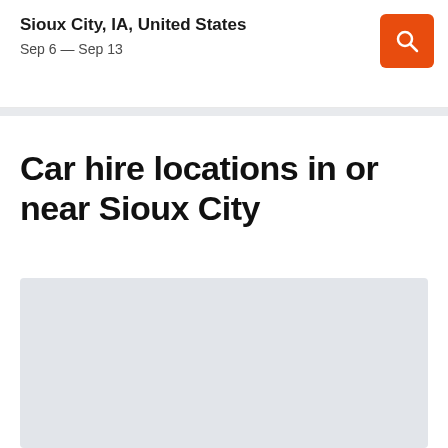Sioux City, IA, United States
Sep 6 — Sep 13
Car hire locations in or near Sioux City
[Figure (map): Map placeholder showing car hire locations in or near Sioux City, displayed as a light grey rectangular area]